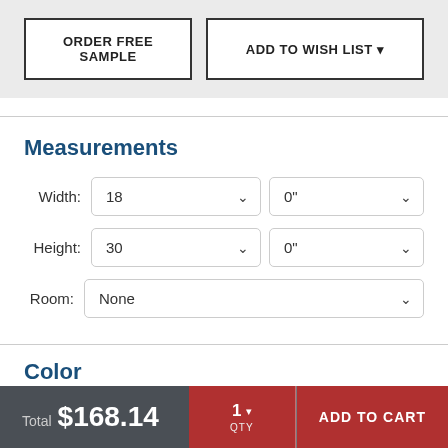[Figure (screenshot): Two buttons: ORDER FREE SAMPLE and ADD TO WISH LIST with dropdown arrow, on a light gray background]
Measurements
Width: 18  0"
Height: 30  0"
Room: None
Color
Total $168.14
1 QTY  ADD TO CART